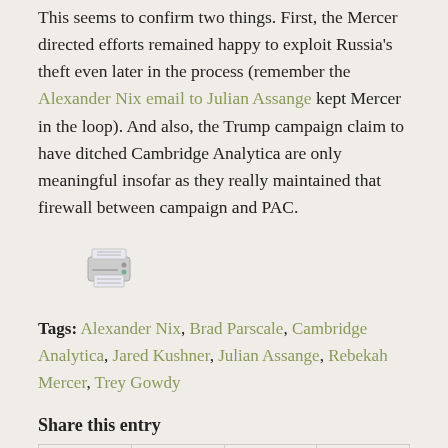This seems to confirm two things. First, the Mercer directed efforts remained happy to exploit Russia's theft even later in the process (remember the Alexander Nix email to Julian Assange kept Mercer in the loop). And also, the Trump campaign claim to have ditched Cambridge Analytica are only meaningful insofar as they really maintained that firewall between campaign and PAC.
[Figure (illustration): Printer icon — small clip-art style image of a desktop printer]
Tags: Alexander Nix, Brad Parscale, Cambridge Analytica, Jared Kushner, Julian Assange, Rebekah Mercer, Trey Gowdy
Share this entry
|   |   |   |   |